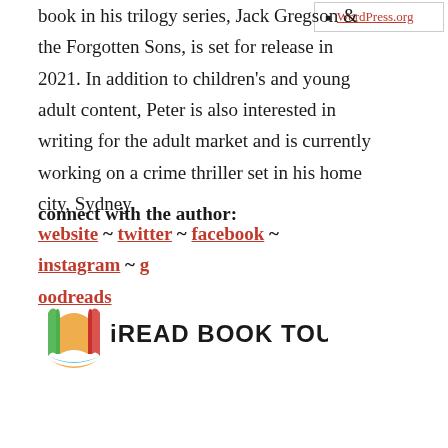book in his trilogy series, Jack Gregson & the Forgotten Sons, is set for release in 2021. In addition to children's and young adult content, Peter is also interested in writing for the adult market and is currently working on a crime thriller set in his home city, Sydney.
WordPress.org
connect with the author:
website ~ twitter ~ facebook ~ instagram ~ goodreads
[Figure (logo): iREAD BOOK TOURS logo with colorful open book icon]